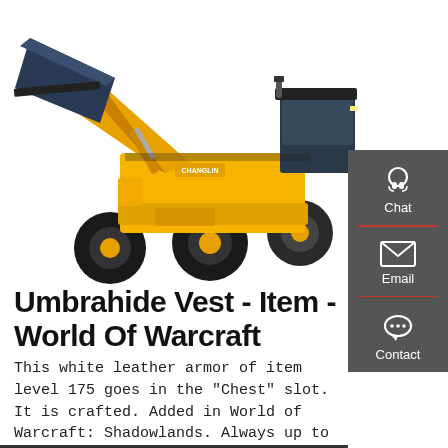[Figure (photo): Yellow front loader / wheel loader construction machine with a large bucket raised, on a white background.]
Umbrahide Vest - Item - World Of Warcraft
This white leather armor of item level 175 goes in the "Chest" slot. It is crafted. Added in World of Warcraft: Shadowlands. Always up to date.